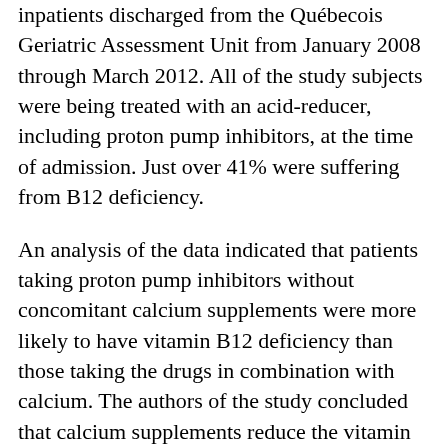inpatients discharged from the Québecois Geriatric Assessment Unit from January 2008 through March 2012. All of the study subjects were being treated with an acid-reducer, including proton pump inhibitors, at the time of admission. Just over 41% were suffering from B12 deficiency.
An analysis of the data indicated that patients taking proton pump inhibitors without concomitant calcium supplements were more likely to have vitamin B12 deficiency than those taking the drugs in combination with calcium. The authors of the study concluded that calcium supplements reduce the vitamin B12 malabsorption effect of gastric acid reducer, and suggested that future research should consider calcium supplement co-administration to be a confounding variable in regards to B12 malabsorption.